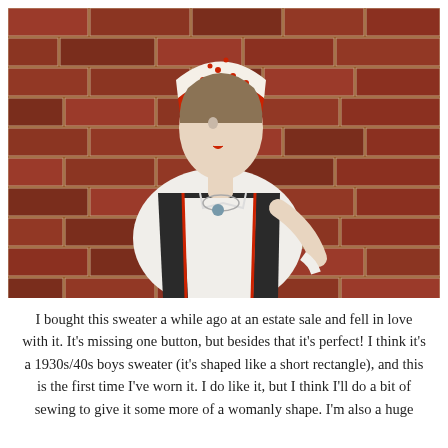[Figure (photo): A young woman with fair skin stands in front of a red brick wall. She is wearing a red and white polka dot head scarf tied around her hair, a white collared shirt, a dark navy/black sleeveless sweater vest with red trim/zipper detail, and a statement necklace. She is looking to her left with red lipstick. One hand is on her hip.]
I bought this sweater a while ago at an estate sale and fell in love with it.  It's missing one button, but besides that it's perfect!  I think it's a 1930s/40s boys sweater (it's shaped like a short rectangle), and this is the first time I've worn it.  I do like it, but I think I'll do a bit of sewing to give it some more of a womanly shape.  I'm also a huge